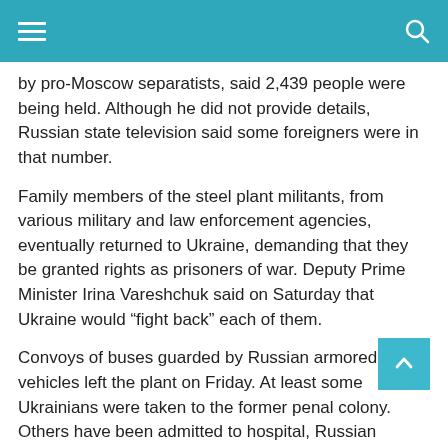Navigation header bar with hamburger menu and search icon
by pro-Moscow separatists, said 2,439 people were being held. Although he did not provide details, Russian state television said some foreigners were in that number.
Family members of the steel plant militants, from various military and law enforcement agencies, eventually returned to Ukraine, demanding that they be granted rights as prisoners of war. Deputy Prime Minister Irina Vareshchuk said on Saturday that Ukraine would “fight back” each of them.
Convoys of buses guarded by Russian armored vehicles left the plant on Friday. At least some Ukrainians were taken to the former penal colony. Others have been admitted to hospital, Russian officials said.
Bushlin said the Ukrainians were determined to face court. Russian authorities and the state media have sought to classify the militants as neo-Nazis and criminals.